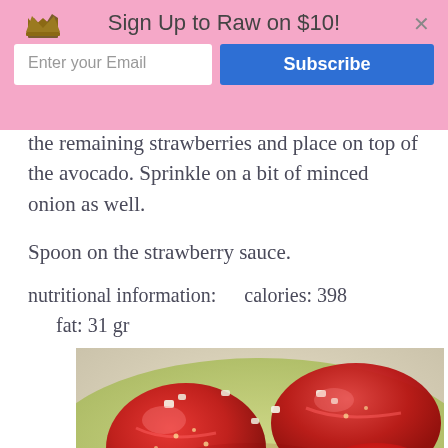Sign Up to Raw on $10!
the remaining strawberries and place on top of the avocado. Sprinkle on a bit of minced onion as well.
Spoon on the strawberry sauce.
nutritional information:    calories: 398    fat: 31 gr
    carbs: 35 gr    protein: 3 gr
[Figure (photo): Close-up photo of sliced strawberries on avocado with minced onion on a plate]